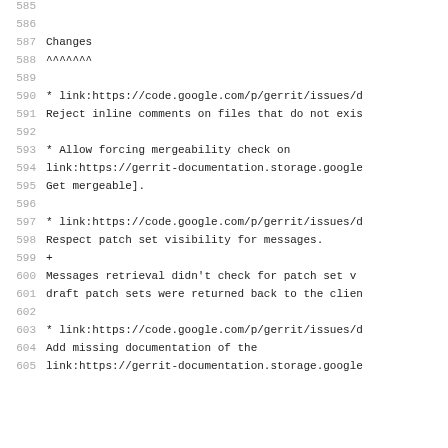585 (empty line)
586 (empty line)
587 Changes
588 ^^^^^^^
589 (empty line)
590 * link:https://code.google.com/p/gerrit/issues/d
591 Reject inline comments on files that do not exis
592 (empty line)
593 * Allow forcing mergeability check on
594 link:https://gerrit-documentation.storage.google
595 Get mergeable].
596 (empty line)
597 * link:https://code.google.com/p/gerrit/issues/d
598 Respect patch set visibility for messages.
599 +
600 Messages retrieval didn't check for patch set v
601 draft patch sets were returned back to the clien
602 (empty line)
603 * link:https://code.google.com/p/gerrit/issues/d
604 Add missing documentation of the
605 link:https://gerrit-documentation.storage.google